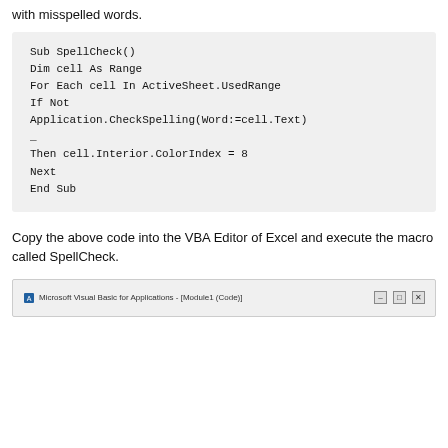with misspelled words.
Sub SpellCheck()
Dim cell As Range
For Each cell In ActiveSheet.UsedRange
If Not Application.CheckSpelling(Word:=cell.Text)
_
Then cell.Interior.ColorIndex = 8
Next
End Sub
Copy the above code into the VBA Editor of Excel and execute the macro called SpellCheck.
[Figure (screenshot): Microsoft Visual Basic for Applications - [Module1 (Code)] window title bar with minimize, restore, and close buttons]